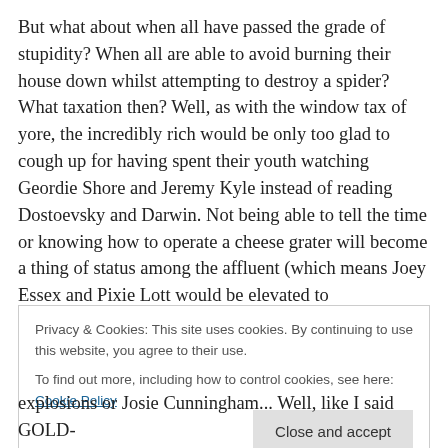But what about when all have passed the grade of stupidity? When all are able to avoid burning their house down whilst attempting to destroy a spider? What taxation then? Well, as with the window tax of yore, the incredibly rich would be only too glad to cough up for having spent their youth watching Geordie Shore and Jeremy Kyle instead of reading Dostoevsky and Darwin. Not being able to tell the time or knowing how to operate a cheese grater will become a thing of status among the affluent (which means Joey Essex and Pixie Lott would be elevated to
Privacy & Cookies: This site uses cookies. By continuing to use this website, you agree to their use.
To find out more, including how to control cookies, see here: Cookie Policy
Close and accept
explosions or Josie Cunningham... Well, like I said GOLD-